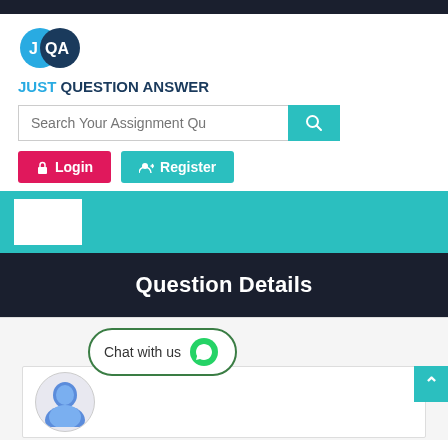[Figure (logo): Just Question Answer logo with two overlapping circles (cyan and dark navy) containing letters J, Q, A in white]
JUST QUESTION ANSWER
Search Your Assignment Qu
Login
Register
Question Details
Chat with us